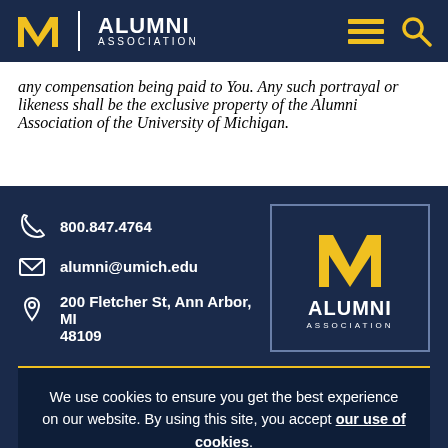M Alumni Association
any compensation being paid to You. Any such portrayal or likeness shall be the exclusive property of the Alumni Association of the University of Michigan.
800.847.4764
alumni@umich.edu
200 Fletcher St, Ann Arbor, MI 48109
[Figure (logo): University of Michigan Alumni Association logo - block M in maize/gold on navy background with ALUMNI ASSOCIATION text]
We use cookies to ensure you get the best experience on our website. By using this site, you accept our use of cookies.
I UNDERSTAND